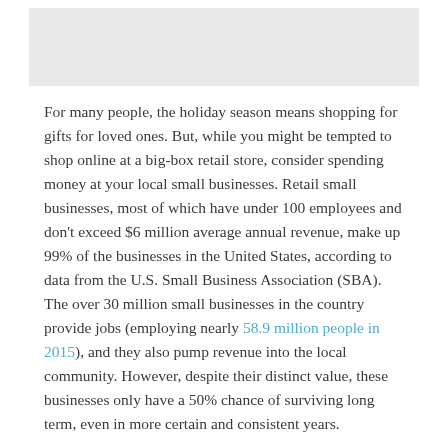[Figure (photo): Cropped image placeholder at top of page, light gray background]
For many people, the holiday season means shopping for gifts for loved ones. But, while you might be tempted to shop online at a big-box retail store, consider spending money at your local small businesses. Retail small businesses, most of which have under 100 employees and don't exceed $6 million average annual revenue, make up 99% of the businesses in the United States, according to data from the U.S. Small Business Association (SBA). The over 30 million small businesses in the country provide jobs (employing nearly 58.9 million people in 2015), and they also pump revenue into the local community. However, despite their distinct value, these businesses only have a 50% chance of surviving long term, even in more certain and consistent years.
In 2020, of all of the country's small businesses, Black-owned small businesses were some of the hardest hit…